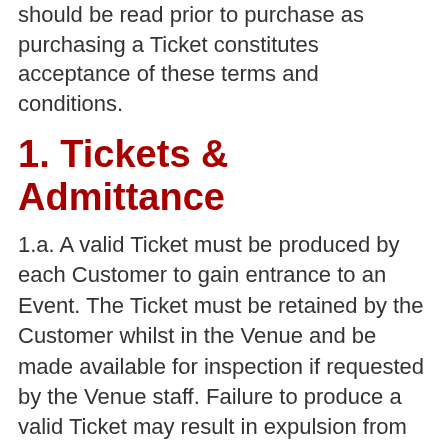should be read prior to purchase as purchasing a Ticket constitutes acceptance of these terms and conditions.
1. Tickets & Admittance
1.a. A valid Ticket must be produced by each Customer to gain entrance to an Event. The Ticket must be retained by the Customer whilst in the Venue and be made available for inspection if requested by the Venue staff. Failure to produce a valid Ticket may result in expulsion from the Venue.
1.b. It is the Customer's responsibility to contact the Venue if Tickets are lost, stolen, damaged or destroyed. Duplicate Tickets may be issued at the discretion of the Venue for certain Events, but it is not